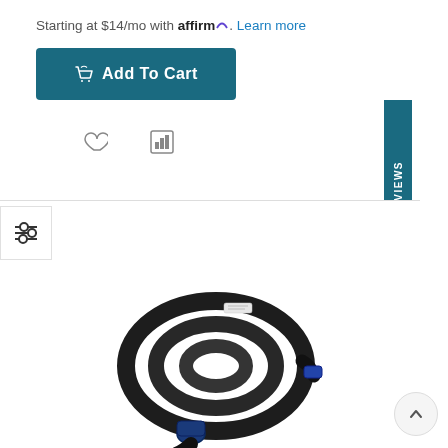Starting at $14/mo with affirm. Learn more
Add To Cart
[Figure (screenshot): Heart icon and compare icon (wishlist and comparison buttons)]
[Figure (screenshot): Reviews vertical tab on right side, teal background with star and REVIEWS text]
[Figure (screenshot): Filter/sliders icon button on left]
[Figure (photo): Black coiled cable product photo with blue connector end]
[Figure (screenshot): Scroll-to-top chevron button, circular, bottom right]